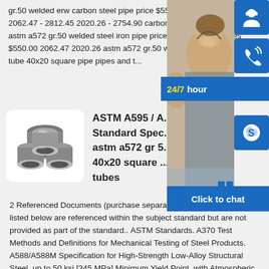gr.50 welded erw carbon steel pipe price $550.00-$750.00 2062.47 - 2812.45 2020.26 - 2754.90 carbon steel square tube astm a572 gr.50 welded steel iron pipe price per kg in steel pipes $550.00 2062.47 2020.26 astm a572 gr.50 welded astm a... steel tube 40x20 square pipe pipes and t...
[Figure (photo): Stack of metallic steel pipes/tubes, circular cross-sections visible]
ASTM A595 / A... Standard Spec... astm a572 gr 5... 40x20 square ... tubes
[Figure (photo): Customer service agent wearing headset, smiling, with 24/7 hour chat panel overlay including phone and Skype icons]
2 Referenced Documents (purchase separately) The documents listed below are referenced within the subject standard but are not provided as part of the standard.. ASTM Standards. A370 Test Methods and Definitions for Mechanical Testing of Steel Products. A588/A588M Specification for High-Strength Low-Alloy Structural Steel, up to 50 ksi [345 MPa] Minimum Yield Point, with Atmospheric Corrosion astm a572 gr 50 steel tube